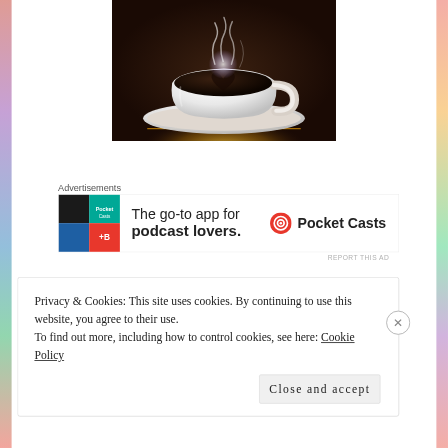[Figure (photo): A white coffee cup with saucer containing black coffee with a heart-shaped design, glowing steam rising, dark brown background with golden light effect at base.]
Advertisements
[Figure (screenshot): Pocket Casts advertisement: colorful app icon with text 'The go-to app for podcast lovers.' and Pocket Casts logo on the right.]
REPORT THIS AD
Privacy & Cookies: This site uses cookies. By continuing to use this website, you agree to their use.
To find out more, including how to control cookies, see here: Cookie Policy
Close and accept